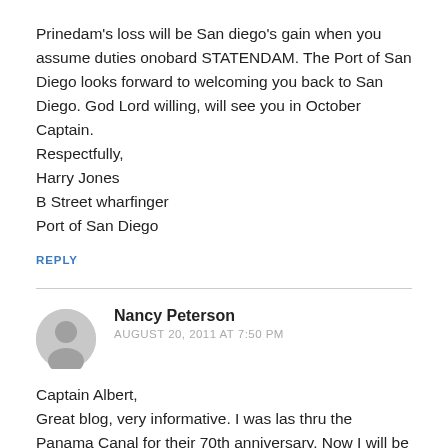Prinedam's loss will be San diego's gain when you assume duties onobard STATENDAM. The Port of San Diego looks forward to welcoming you back to San Diego. God Lord willing, will see you in October Captain.
Respectfully,
Harry Jones
B Street wharfinger
Port of San Diego
REPLY
Nancy Peterson
AUGUST 20, 2011 AT 7:50 PM
Captain Albert,
Great blog, very informative. I was las thru the Panama Canal for their 70th anniversary. Now I will be going RT from FTL on 14 October. Wonderful to have you on my